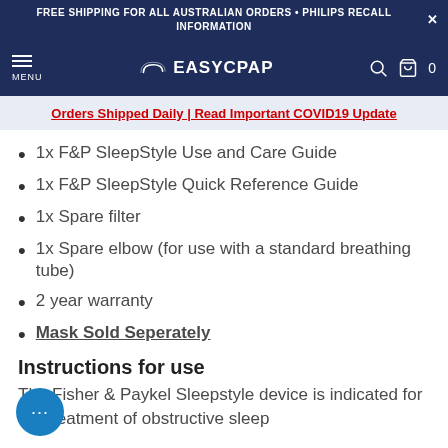FREE SHIPPING FOR ALL AUSTRALIAN ORDERS • PHILIPS RECALL INFORMATION
MENU | EASYCPAP | 0
Orders Shipped Daily | Read Important COVID19 Update
1x F&P SleepStyle Use and Care Guide
1x F&P SleepStyle Quick Reference Guide
1x Spare filter
1x Spare elbow (for use with a standard breathing tube)
2 year warranty
Mask Sold Seperately
Instructions for use
The Fisher & Paykel Sleepstyle device is indicated for the treatment of obstructive sleep